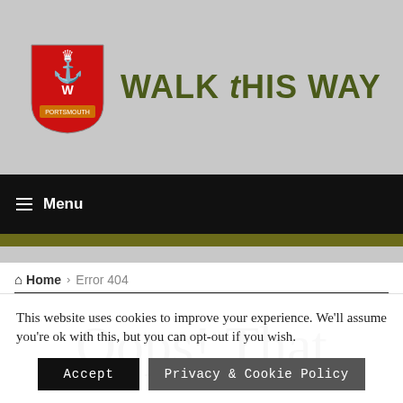[Figure (logo): Walk This Way website header with red shield logo and site name in olive/dark yellow text]
≡ Menu
Home › Error 404
Oops! That
This website uses cookies to improve your experience. We'll assume you're ok with this, but you can opt-out if you wish.
Accept | Privacy & Cookie Policy